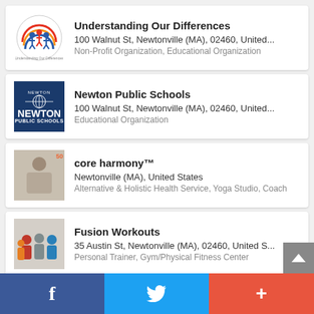[Figure (logo): Understanding Our Differences circular logo with people figures]
Understanding Our Differences
100 Walnut St, Newtonville (MA), 02460, United...
Non-Profit Organization, Educational Organization
[Figure (logo): Newton Public Schools dark blue logo]
Newton Public Schools
100 Walnut St, Newtonville (MA), 02460, United...
Educational Organization
[Figure (photo): Photo of a woman, core harmony business]
core harmony™
Newtonville (MA), United States
Alternative & Holistic Health Service, Yoga Studio, Coach
[Figure (photo): Group photo for Fusion Workouts]
Fusion Workouts
35 Austin St, Newtonville (MA), 02460, United S...
Personal Trainer, Gym/Physical Fitness Center